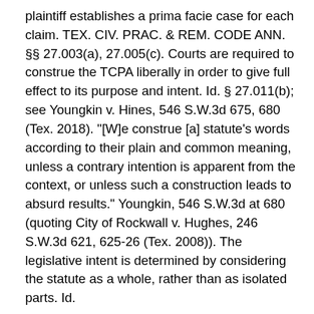plaintiff establishes a prima facie case for each claim. TEX. CIV. PRAC. & REM. CODE ANN. §§ 27.003(a), 27.005(c). Courts are required to construe the TCPA liberally in order to give full effect to its purpose and intent. Id. § 27.011(b); see Youngkin v. Hines, 546 S.W.3d 675, 680 (Tex. 2018). "[W]e construe [a] statute's words according to their plain and common meaning, unless a contrary intention is apparent from the context, or unless such a construction leads to absurd results." Youngkin, 546 S.W.3d at 680 (quoting City of Rockwall v. Hughes, 246 S.W.3d 621, 625-26 (Tex. 2008)). The legislative intent is determined by considering the statute as a whole, rather than as isolated parts. Id.
The filing of a motion to dismiss under the TCPA triggers a burden shifting mechanism which ensures that legal actions to which the TCPA applies have merit and are not brought "to intimidate or silence" those who exercise First Amendment rights listed in the statute. In re Lipsky, 460 S.W.3d at 584; Robert B. James, DDS, Inc. v. Elkins, 553